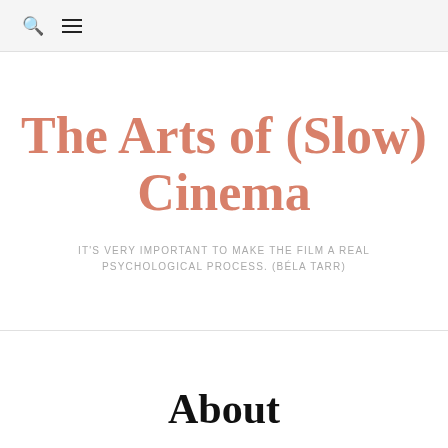🔍 ≡
The Arts of (Slow) Cinema
IT'S VERY IMPORTANT TO MAKE THE FILM A REAL PSYCHOLOGICAL PROCESS. (BÉLA TARR)
About